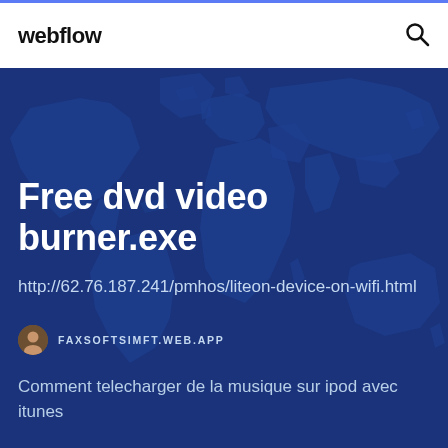webflow
[Figure (map): World map silhouette in dark blue tones used as hero background]
Free dvd video burner.exe
http://62.76.187.241/pmhos/liteon-device-on-wifi.html
FAXSOFTSIMFT.WEB.APP
Comment telecharger de la musique sur ipod avec itunes